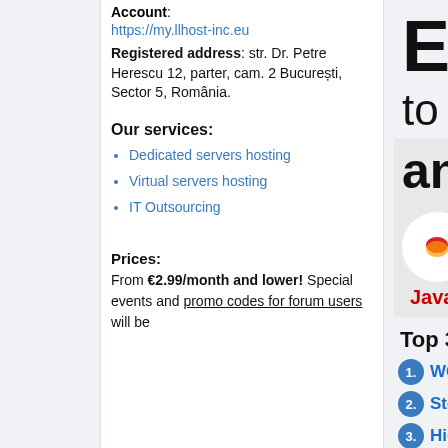Account: https://my.llhost-inc.eu
Registered address: str. Dr. Petre Herescu 12, parter, cam. 2 București, Sector 5, România.
Our services:
Dedicated servers hosting
Virtual servers hosting
IT Outsourcing
Prices:
From €2.99/month and lower! Special events and promo codes for forum users will be